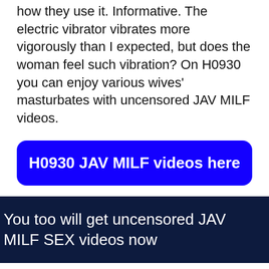how they use it. Informative. The electric vibrator vibrates more vigorously than I expected, but does the woman feel such vibration? On H0930 you can enjoy various wives' masturbates with uncensored JAV MILF videos.
[Figure (other): Blue rounded rectangle button with white bold text: H0930 JAV MILF videos here]
You too will get uncensored JAV MILF SEX videos now
Uncensored JAV milf SEX videos that you can neither see nor buy in Japan. However, it can be